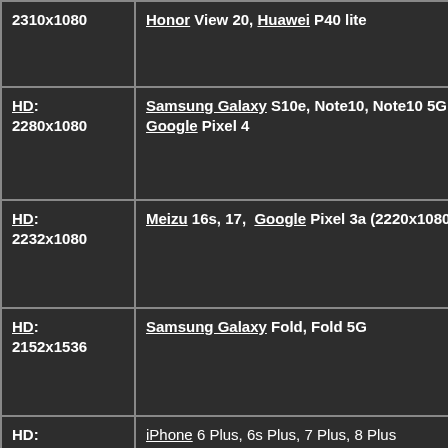| Resolution | Devices |
| --- | --- |
| 2310x1080 | Honor View 20, Huawei P40 lite |
| HD:
2280x1080 | Samsung Galaxy S10e, Note10, Note10 5G, Google Pixel 4 |
| HD:
2232x1080 | Meizu 16s, 17, Google Pixel 3a (2220x1080), |
| HD:
2152x1536 | Samsung Galaxy Fold, Fold 5G |
| HD:
1920x1080 | iPhone 6 Plus, 6s Plus, 7 Plus, 8 Plus
Samsung Galaxy S6 Plus, Note 3, S4, S5,
LG G2, Google Pixel, Pixel 2
Oppo Find 7a, N1,
HTC One, One M8, One Max, Droid DNA, Droid Butterfly, OnePlus One,
Sony Xperia Z, Xperia ZL, Xperia Z Ultra, Xpreria Z1, Karbonn Titanium Octane |